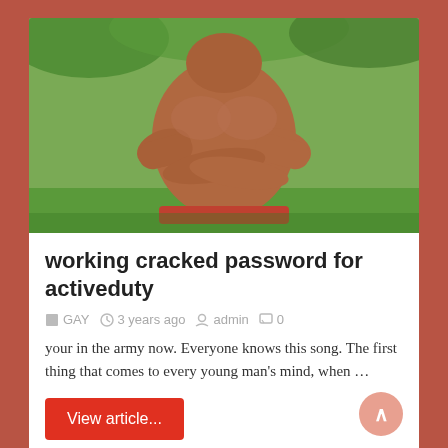[Figure (photo): Shirtless muscular man with arms crossed standing outdoors with green trees in background]
working cracked password for activeduty
GAY  3 years ago  admin  0
your in the army now. Everyone knows this song. The first thing that comes to every young man's mind, when …
View article...